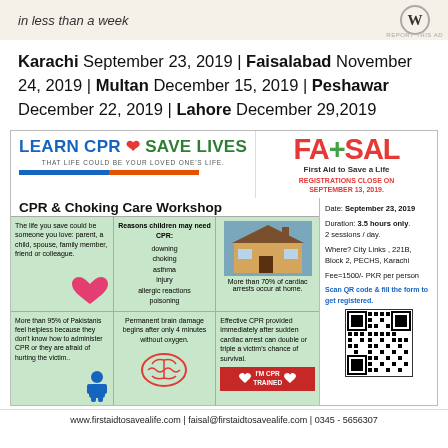[Figure (infographic): Advertisement banner with text 'in less than a week' and WordPress logo]
Karachi September 23, 2019 | Faisalabad November 24, 2019 | Multan December 15, 2019 | Peshawar December 22, 2019 | Lahore December 29,2019
[Figure (infographic): FAISAL - First Aid to Save a Life CPR & Choking Care Workshop promotional card with details about Karachi event on September 23, 2019]
www.firstaidtosavealife.com | faisal@firstaidtosavealife.com | 0345 - 5656307